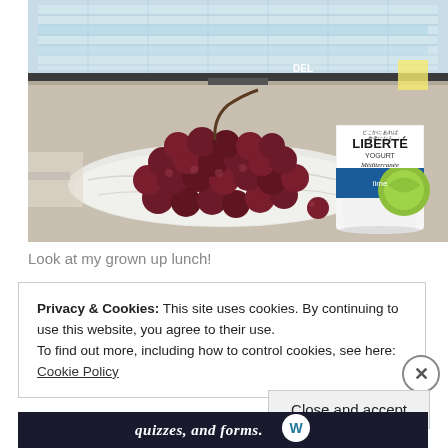[Figure (photo): Photo of a bunch of red grapes on a white paper towel on a desk, with a Liberté Méditerranée lime yogurt cup in the background, and a computer monitor showing a spreadsheet visible further in the background.]
Look at my grown up lunch!
Privacy & Cookies: This site uses cookies. By continuing to use this website, you agree to their use.
To find out more, including how to control cookies, see here: Cookie Policy